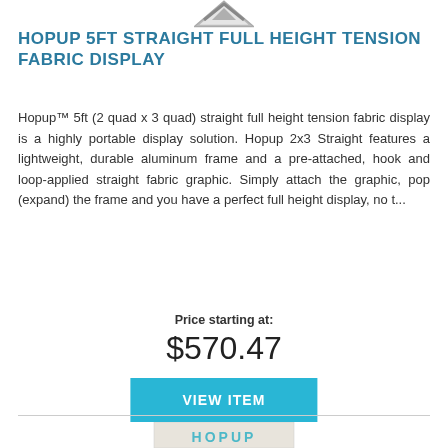[Figure (illustration): Small diagonal arrow/chevron icon at the top center of the page]
HOPUP 5FT STRAIGHT FULL HEIGHT TENSION FABRIC DISPLAY
Hopup™ 5ft (2 quad x 3 quad) straight full height tension fabric display is a highly portable display solution. Hopup 2x3 Straight features a lightweight, durable aluminum frame and a pre-attached, hook and loop-applied straight fabric graphic. Simply attach the graphic, pop (expand) the frame and you have a perfect full height display, no t...
Price starting at:
$570.47
VIEW ITEM
[Figure (photo): Partial view of a Hopup display product at the bottom of the page, showing a white/cream colored fabric display stand with 'HOPUP' text visible]